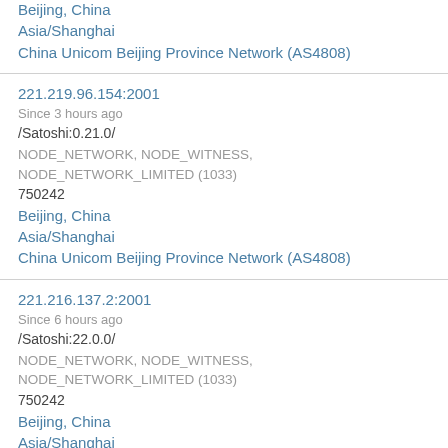Beijing, China
Asia/Shanghai
China Unicom Beijing Province Network (AS4808)
221.219.96.154:2001
Since 3 hours ago
/Satoshi:0.21.0/
NODE_NETWORK, NODE_WITNESS, NODE_NETWORK_LIMITED (1033)
750242
Beijing, China
Asia/Shanghai
China Unicom Beijing Province Network (AS4808)
221.216.137.2:2001
Since 6 hours ago
/Satoshi:22.0.0/
NODE_NETWORK, NODE_WITNESS, NODE_NETWORK_LIMITED (1033)
750242
Beijing, China
Asia/Shanghai
China Unicom Beijing Province Network (AS4808)